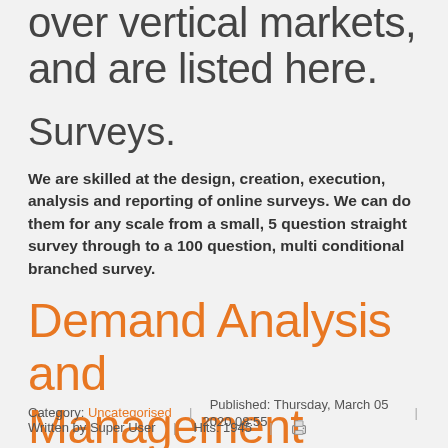over vertical markets, and are listed here.
Surveys.
We are skilled at the design, creation, execution, analysis and reporting of online surveys. We can do them for any scale from a small, 5 question straight survey through to a 100 question, multi conditional branched survey.
Demand Analysis and Management
Category: Uncategorised | Published: Thursday, March 05 2020 08:55 | Written by Super User | Hits: 1945 |